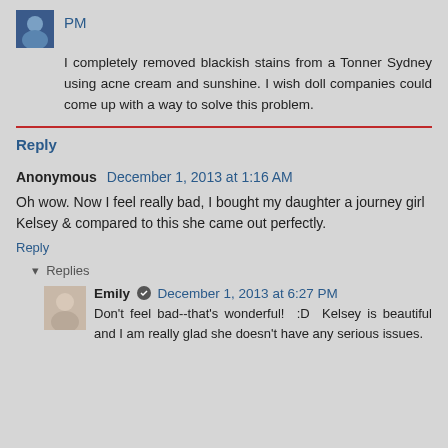PM
I completely removed blackish stains from a Tonner Sydney using acne cream and sunshine. I wish doll companies could come up with a way to solve this problem.
Reply
Anonymous  December 1, 2013 at 1:16 AM
Oh wow. Now I feel really bad, I bought my daughter a journey girl Kelsey & compared to this she came out perfectly.
Reply
Replies
Emily  December 1, 2013 at 6:27 PM
Don't feel bad--that's wonderful!  :D  Kelsey is beautiful and I am really glad she doesn't have any serious issues.